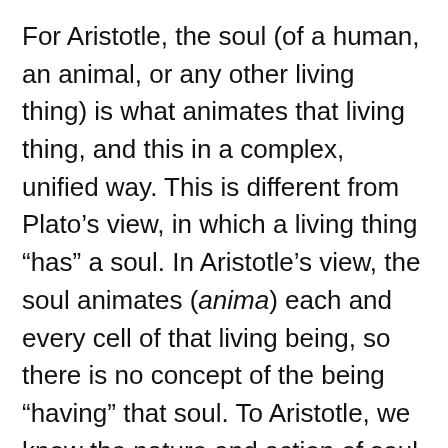For Aristotle, the soul (of a human, an animal, or any other living thing) is what animates that living thing, and this in a complex, unified way. This is different from Plato’s view, in which a living thing “has” a soul. In Aristotle’s view, the soul animates (anima) each and every cell of that living being, so there is no concept of the being “having” that soul. To Aristotle, we know the nature and action of soul through its actions, through the effects it has on other things.
Gestalt takes an Aristotelian rather than a Platonic view of the psyche (soul). In Gestalt practice this means we take a holistic, action-oriented view of